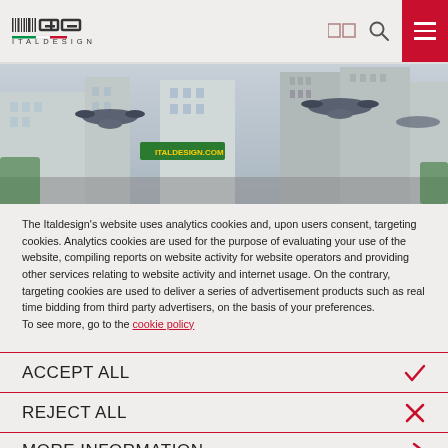Italdesign logo header with navigation icons and hamburger menu
[Figure (photo): Wide cityscape panorama showing futuristic flying vehicles (drone-style aircraft) hovering above urban streets with tall buildings in the background.]
The Italdesign's website uses analytics cookies and, upon users consent, targeting cookies. Analytics cookies are used for the purpose of evaluating your use of the website, compiling reports on website activity for website operators and providing other services relating to website activity and internet usage. On the contrary, targeting cookies are used to deliver a series of advertisement products such as real time bidding from third party advertisers, on the basis of your preferences.
To see more, go to the cookie policy
ACCEPT ALL
REJECT ALL
MORE INFORMATION